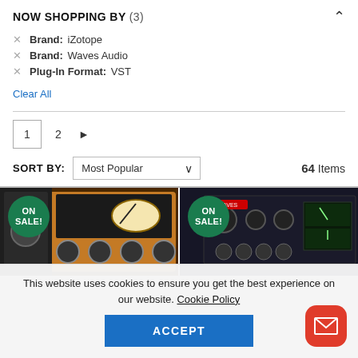NOW SHOPPING BY (3)
Brand: iZotope
Brand: Waves Audio
Plug-In Format: VST
Clear All
1  2  ▶
SORT BY: Most Popular  64 Items
[Figure (screenshot): Two audio plugin product images each with ON SALE badge. Left: warm brown hardware-style plugin. Right: dark-themed audio plugin interface.]
This website uses cookies to ensure you get the best experience on our website. Cookie Policy
ACCEPT